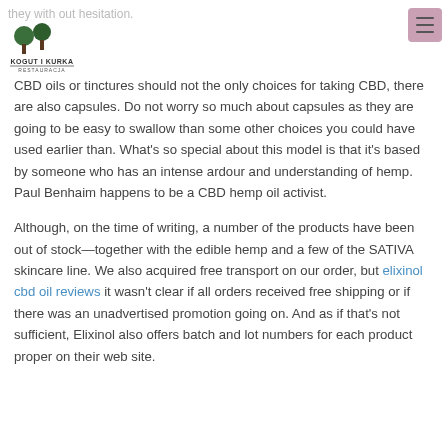they with out hesitation. [Logo: Kogut i Kurka Restauracja] [hamburger menu]
CBD oils or tinctures should not the only choices for taking CBD, there are also capsules. Do not worry so much about capsules as they are going to be easy to swallow than some other choices you could have used earlier than. What's so special about this model is that it's based by someone who has an intense ardour and understanding of hemp. Paul Benhaim happens to be a CBD hemp oil activist.
Although, on the time of writing, a number of the products have been out of stock—together with the edible hemp and a few of the SATIVA skincare line. We also acquired free transport on our order, but elixinol cbd oil reviews it wasn't clear if all orders received free shipping or if there was an unadvertised promotion going on. And as if that's not sufficient, Elixinol also offers batch and lot numbers for each product proper on their web site.